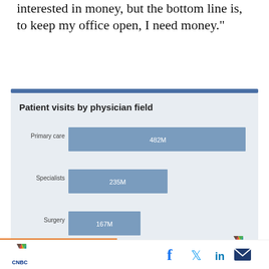interested in money, but the bottom line is, to keep my office open, I need money.”
[Figure (bar-chart): Patient visits by physician field]
SOURCE: CDC, National Ambulatory Medical Care Survey, 2016
CNBC